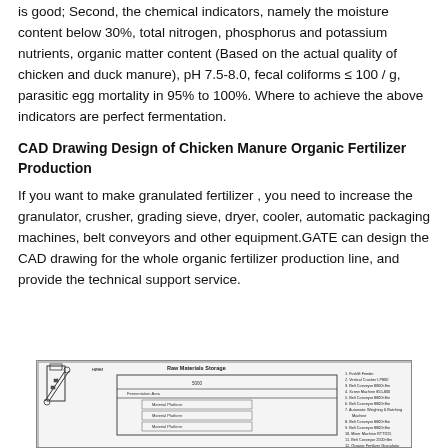is good; Second, the chemical indicators, namely the moisture content below 30%, total nitrogen, phosphorus and potassium nutrients, organic matter content (Based on the actual quality of chicken and duck manure), pH 7.5-8.0, fecal coliforms ≤ 100 / g, parasitic egg mortality in 95% to 100%. Where to achieve the above indicators are perfect fermentation.
CAD Drawing Design of Chicken Manure Organic Fertilizer Production
If you want to make granulated fertilizer , you need to increase the granulator, crusher, grading sieve, dryer, cooler, automatic packaging machines, belt conveyors and other equipment.GATE can design the CAD drawing for the whole organic fertilizer production line, and provide the technical support service.
[Figure (engineering-diagram): CAD drawing of chicken manure organic fertilizer production line showing equipment layout with conveyor systems, processing units, and a numbered parts list on the right side.]